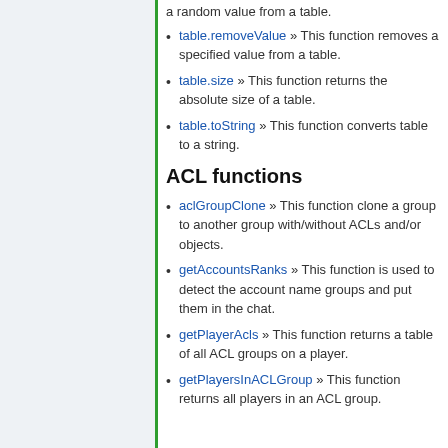a random value from a table.
table.removeValue » This function removes a specified value from a table.
table.size » This function returns the absolute size of a table.
table.toString » This function converts table to a string.
ACL functions
aclGroupClone » This function clone a group to another group with/without ACLs and/or objects.
getAccountsRanks » This function is used to detect the account name groups and put them in the chat.
getPlayerAcls » This function returns a table of all ACL groups on a player.
getPlayersInACLGroup » This function returns all players in an ACL group.